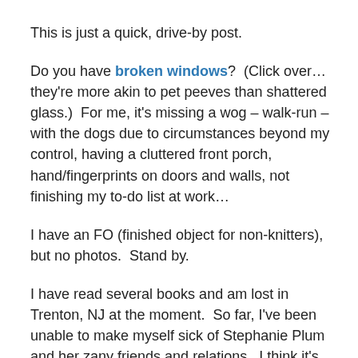This is just a quick, drive-by post.
Do you have broken windows?  (Click over… they're more akin to pet peeves than shattered glass.)  For me, it's missing a wog – walk-run – with the dogs due to circumstances beyond my control, having a cluttered front porch, hand/fingerprints on doors and walls, not finishing my to-do list at work…
I have an FO (finished object for non-knitters), but no photos.  Stand by.
I have read several books and am lost in Trenton, NJ at the moment.  So far, I've been unable to make myself sick of Stephanie Plum and her zany friends and relations.  I think it's because I can relate.  I remember the first time I told my father I was going to be a writer.  His dark mocha